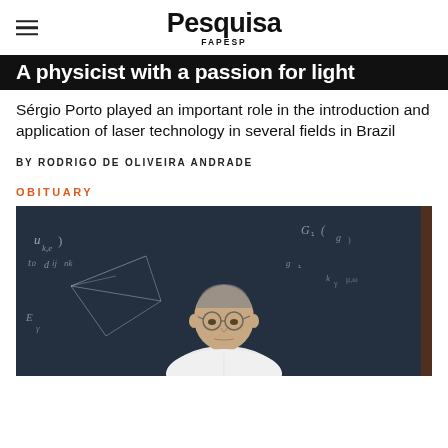Pesquisa FAPESP
A physicist with a passion for light
Sérgio Porto played an important role in the introduction and application of laser technology in several fields in Brazil
BY RODRIGO DE OLIVEIRA ANDRADE
OBITUARY
[Figure (photo): Elderly man with glasses seated in front of a chalkboard covered with physics equations and diagrams, wearing a white shirt]